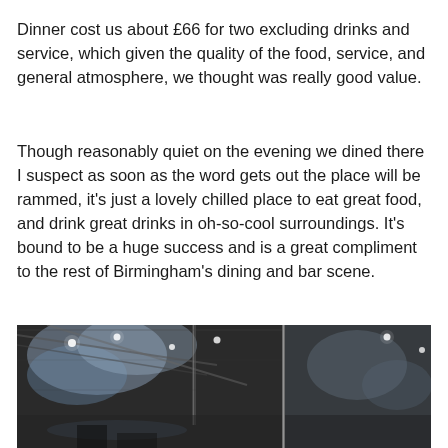Dinner cost us about £66 for two excluding drinks and service, which given the quality of the food, service, and general atmosphere, we thought was really good value.
Though reasonably quiet on the evening we dined there I suspect as soon as the word gets out the place will be rammed, it's just a lovely chilled place to eat great food, and drink great drinks in oh-so-cool surroundings. It's bound to be a huge success and is a great compliment to the rest of Birmingham's dining and bar scene.
[Figure (photo): Interior photo of a restaurant or bar with reflective metallic ceiling, glass panels, and recessed spotlights creating a modern, cool atmosphere.]